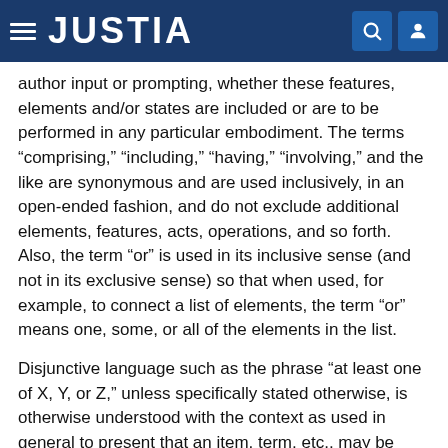JUSTIA
author input or prompting, whether these features, elements and/or states are included or are to be performed in any particular embodiment. The terms “comprising,” “including,” “having,” “involving,” and the like are synonymous and are used inclusively, in an open-ended fashion, and do not exclude additional elements, features, acts, operations, and so forth. Also, the term “or” is used in its inclusive sense (and not in its exclusive sense) so that when used, for example, to connect a list of elements, the term “or” means one, some, or all of the elements in the list.
Disjunctive language such as the phrase “at least one of X, Y, or Z,” unless specifically stated otherwise, is otherwise understood with the context as used in general to present that an item, term, etc., may be either X, Y, or Z, or any combination thereof (e.g., X, Y and/or Z).